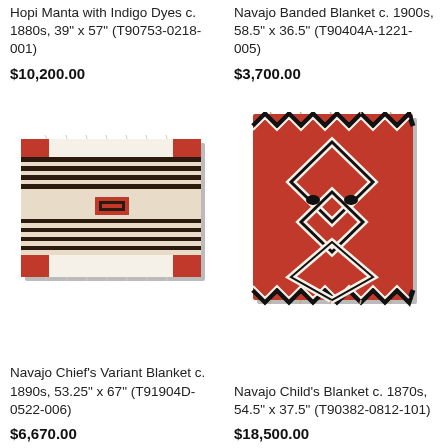Hopi Manta with Indigo Dyes c. 1880s, 39" x 57" (T90753-0218-001)
$10,200.00
Navajo Banded Blanket c. 1900s, 58.5" x 36.5" (T90404A-1221-005)
$3,700.00
[Figure (photo): Navajo Chief's Variant Blanket with horizontal black, white, and red stripes and a central red square motif]
[Figure (photo): Navajo Child's Blanket with bold red background, zigzag borders, large diamond shapes with black eye motifs]
Navajo Chief's Variant Blanket c. 1890s, 53.25" x 67" (T91904D-0522-006)
$6,670.00
Navajo Child's Blanket c. 1870s, 54.5" x 37.5" (T90382-0812-101)
$18,500.00